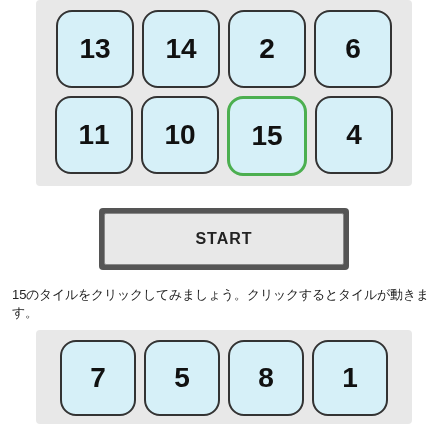[Figure (screenshot): A puzzle grid showing two rows of four numbered tiles (13, 14, 2, 6 / 11, 10, 15, 4) on a light gray background. Tile 15 has a green border highlight.]
[Figure (screenshot): A START button with dark gray outer border and light gray inner fill.]
15のタイルをクリックしてみましょう。クリックするとタイルが動きます。
[Figure (screenshot): Bottom row of four numbered tiles: 7, 5, 8, 1 on a light gray background.]